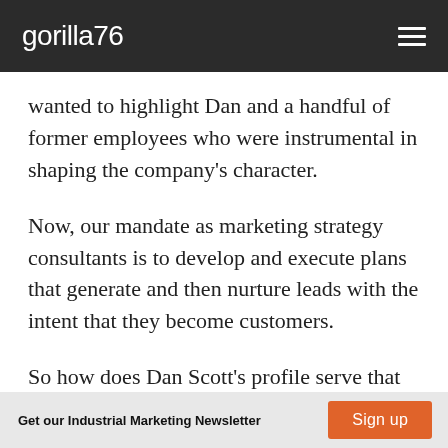gorilla76
wanted to highlight Dan and a handful of former employees who were instrumental in shaping the company's character.
Now, our mandate as marketing strategy consultants is to develop and execute plans that generate and then nurture leads with the intent that they become customers.
So how does Dan Scott's profile serve that purpose?
Get our Industrial Marketing Newsletter   Sign up